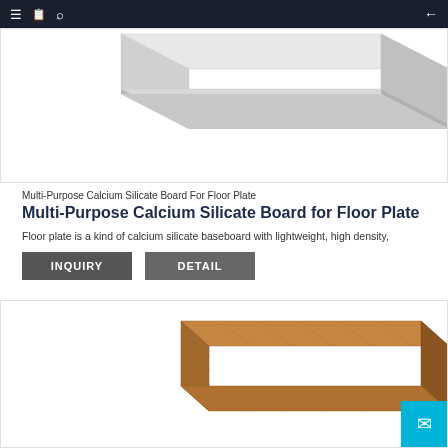≡ [icon] 🔍  ←
[Figure (photo): Calcium silicate board product photo showing a flat rectangular white/grey board slab in perspective view, top portion visible]
Multi-Purpose Calcium Silicate Board For Floor Plate
Multi-Purpose Calcium Silicate Board for Floor Plate
Floor plate is a kind of calcium silicate baseboard with lightweight, high density,
INQUIRY
DETAIL
[Figure (photo): Calcium silicate board product photo showing a rectangular brown wood-grain textured board slab in perspective view, partially visible at bottom of page]